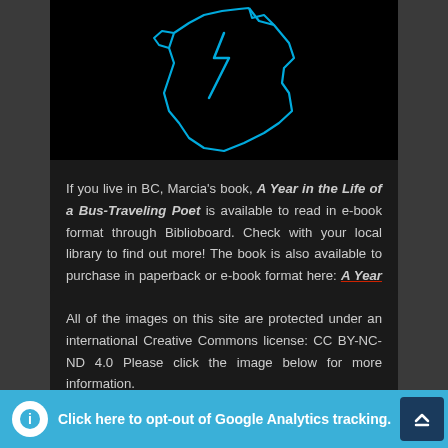[Figure (illustration): Blue line art illustration of British Columbia map outline on black background]
If you live in BC, Marcia's book, A Year in the Life of a Bus-Traveling Poet is available to read in e-book format through Biblioboard. Check with your local library to find out more! The book is also available to purchase in paperback or e-book format here: A Year in the Life of a Bus-Traveling Poet
All of the images on this site are protected under an international Creative Commons license: CC BY-NC-ND 4.0 Please click the image below for more information.
Click here to opt-out of Google Analytics tracking.